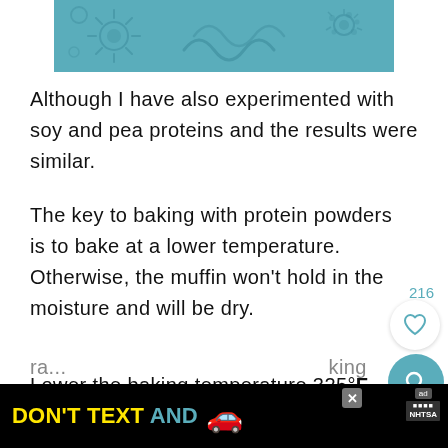[Figure (illustration): Teal/blue-green decorative banner image with stylized virus/germ illustrations on a teal background]
Although I have also experimented with soy and pea proteins and the results were similar.
The key to baking with protein powders is to bake at a lower temperature. Otherwise, the muffin won't hold in the moisture and will be dry.
Lower the baking temperature 325°F as noted in the recipe card. Resist the temptation to raise... baking
[Figure (infographic): DON'T TEXT AND [car emoji] advertisement banner with NHTSA branding on black background]